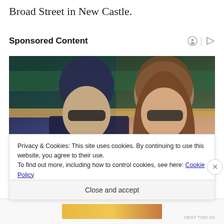Broad Street in New Castle.
Sponsored Content
[Figure (photo): Two people sitting in stadium seating. A man in a dark suit with sunglasses on the left, a woman with long brown hair and sunglasses on the right.]
Privacy & Cookies: This site uses cookies. By continuing to use this website, you agree to their use.
To find out more, including how to control cookies, see here: Cookie Policy
Close and accept